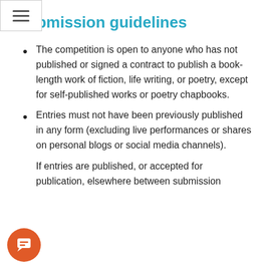Submission guidelines
The competition is open to anyone who has not published or signed a contract to publish a book-length work of fiction, life writing, or poetry, except for self-published works or poetry chapbooks.
Entries must not have been previously published in any form (excluding live performances or shares on personal blogs or social media channels).
If entries are published, or accepted for publication, elsewhere between submission